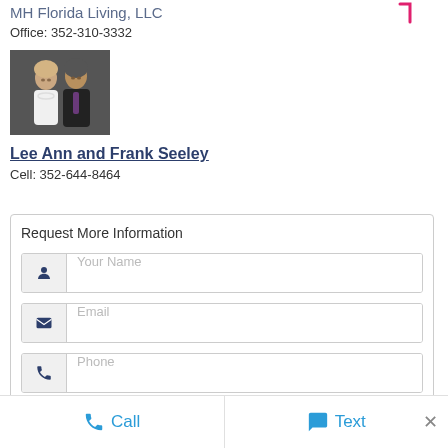MH Florida Living, LLC
Office: 352-310-3332
[Figure (photo): Photo of Lee Ann and Frank Seeley, a couple posing together]
Lee Ann and Frank Seeley
Cell: 352-644-8464
Request More Information
Your Name
Email
Phone
Call
Text